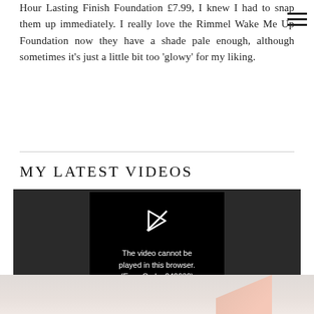Hour Lasting Finish Foundation £7.99, I knew I had to snap them up immediately. I really love the Rimmel Wake Me Up Foundation now they have a shade pale enough, although sometimes it's just a little bit too 'glowy' for my liking.
MY LATEST VIDEOS
[Figure (screenshot): Video player showing error message: 'The video cannot be played in this browser. (Error Code: 242632)' on dark background]